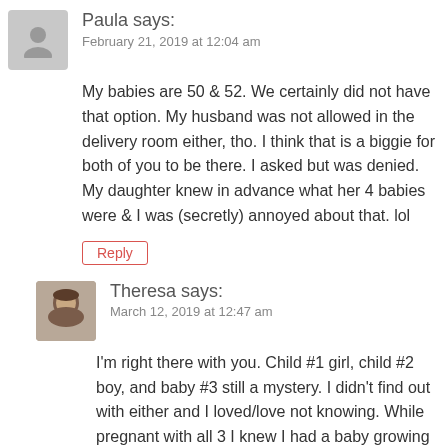[Figure (illustration): Generic user avatar placeholder - grey silhouette icon on grey background]
Paula says:
February 21, 2019 at 12:04 am
My babies are 50 & 52. We certainly did not have that option. My husband was not allowed in the delivery room either, tho. I think that is a biggie for both of you to be there. I asked but was denied. My daughter knew in advance what her 4 babies were & I was (secretly) annoyed about that. lol
Reply
[Figure (photo): Profile photo of Theresa - woman with dark hair]
Theresa says:
March 12, 2019 at 12:47 am
I'm right there with you. Child #1 girl, child #2 boy, and baby #3 still a mystery. I didn't find out with either and I loved/love not knowing. While pregnant with all 3 I knew I had a baby growing inside. I had time to plan for general ideas and dreams I wanted for my child. mainly a healthy baby. I focused more on how my